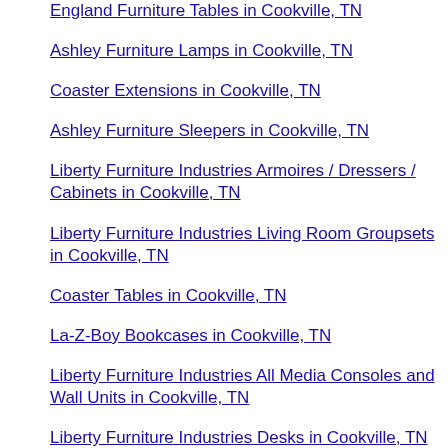England Furniture Tables in Cookville, TN
Ashley Furniture Lamps in Cookville, TN
Coaster Extensions in Cookville, TN
Ashley Furniture Sleepers in Cookville, TN
Liberty Furniture Industries Armoires / Dressers / Cabinets in Cookville, TN
Liberty Furniture Industries Living Room Groupsets in Cookville, TN
Coaster Tables in Cookville, TN
La-Z-Boy Bookcases in Cookville, TN
Liberty Furniture Industries All Media Consoles and Wall Units in Cookville, TN
Liberty Furniture Industries Desks in Cookville, TN
Ashley Furniture Extensions in Cookville, TN
La-Z-Boy Other Home Accents in Cookville, TN